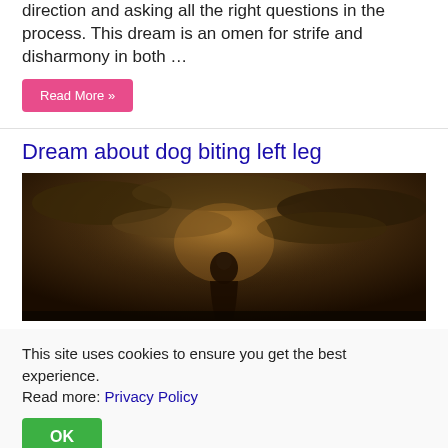direction and asking all the right questions in the process. This dream is an omen for strife and disharmony in both …
Read More »
Dream about dog biting left leg
[Figure (photo): A woman with her back to the camera, wearing a floral dress, standing against a dramatic stormy dark sky background.]
This site uses cookies to ensure you get the best experience. Read more: Privacy Policy
OK